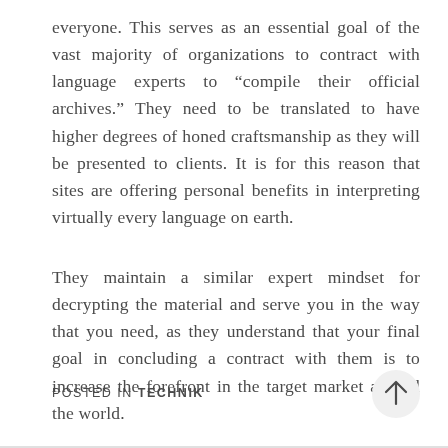everyone. This serves as an essential goal of the vast majority of organizations to contract with language experts to “compile their official archives.” They need to be translated to have higher degrees of honed craftsmanship as they will be presented to clients. It is for this reason that sites are offering personal benefits in interpreting virtually every language on earth.
They maintain a similar expert mindset for decrypting the material and serve you in the way that you need, as they understand that your final goal in concluding a contract with them is to increase the forefront in the target market around the world.
POSTED IN TECHNIK